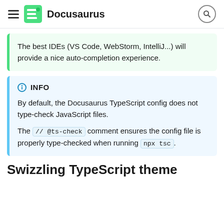Docusaurus
The best IDEs (VS Code, WebStorm, IntelliJ...) will provide a nice auto-completion experience.
INFO
By default, the Docusaurus TypeScript config does not type-check JavaScript files.
The // @ts-check comment ensures the config file is properly type-checked when running npx tsc.
Swizzling TypeScript theme